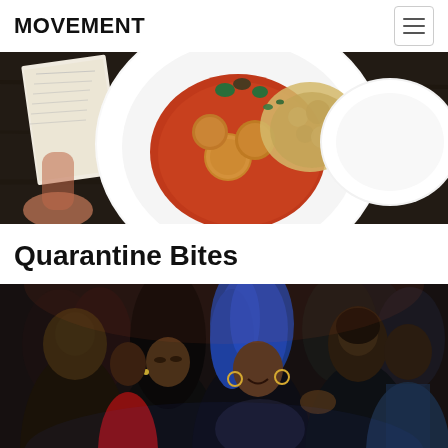MOVEMENT
[Figure (photo): Overhead shot of a white plate with Italian food — arancini, olives, grilled cauliflower in tomato sauce — on a dark wooden restaurant table with a menu and cutlery. A second empty white plate is visible to the right.]
Quarantine Bites
[Figure (photo): Photo of a group of people dancing and socializing at a nightclub or party event. A woman with blue hair is prominently featured in the center, smiling. The lighting is dim and the crowd is packed.]